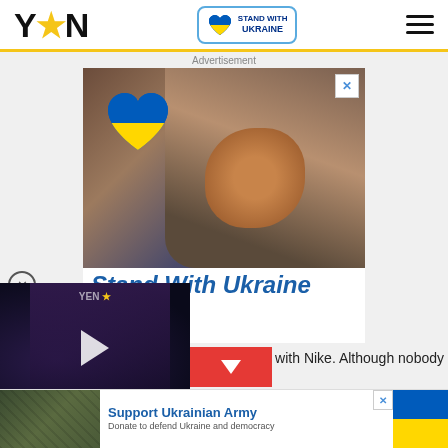YEN
[Figure (logo): Stand With Ukraine badge with blue/yellow heart icon]
Advertisement
[Figure (photo): Young girl holding two dogs, with Ukrainian flag heart overlay in top left corner and close X button in top right]
Stand With Ukraine
save the lives of children
[Figure (screenshot): Video player overlay showing YEN logo and play button over dark background with woman being interviewed]
with Nike. Although nobody
[Figure (photo): Support Ukrainian Army advertisement banner with soldiers image on left, blue/yellow Ukrainian flag on right, and text 'Support Ukrainian Army - Donate to defend Ukraine and democracy']